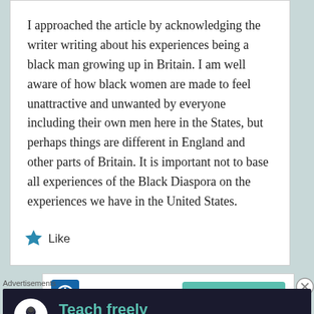I approached the article by acknowledging the writer writing about his experiences being a black man growing up in Britain. I am well aware of how black women are made to feel unattractive and unwanted by everyone including their own men here in the States, but perhaps things are different in England and other parts of Britain. It is important not to base all experiences of the Black Diaspora on the experiences we have in the United States.
Like
[Figure (logo): Power/on icon logo in blue square]
Amazom
LOG IN TO REPLY
Advertisements
[Figure (infographic): Dark advertisement banner: circular logo with person/tree icon, text 'Teach freely' and 'Make money selling online courses.' on dark background in teal color.]